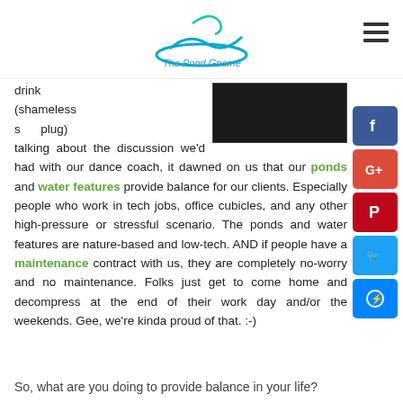The Pond Gnome
drink (shameless plug) talking about the discussion we'd had with our dance coach, it dawned on us that our ponds and water features provide balance for our clients. Especially people who work in tech jobs, office cubicles, and any other high-pressure or stressful scenario. The ponds and water features are nature-based and low-tech. AND if people have a maintenance contract with us, they are completely no-worry and no maintenance. Folks just get to come home and decompress at the end of their work day and/or the weekends. Gee, we're kinda proud of that. :-)
So, what are you doing to provide balance in your life?